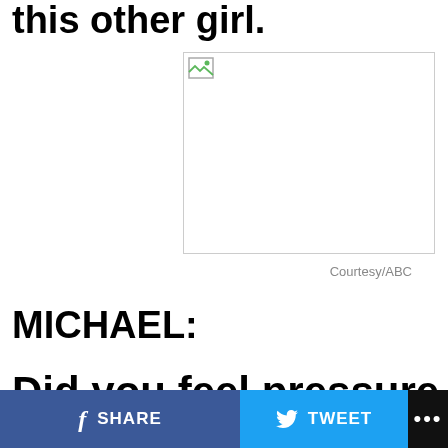this other girl.
[Figure (photo): Broken image placeholder with small icon, bordered rectangle]
Courtesy/ABC
MICHAEL:
Did you feel pressure as an
SHARE   TWEET   ...